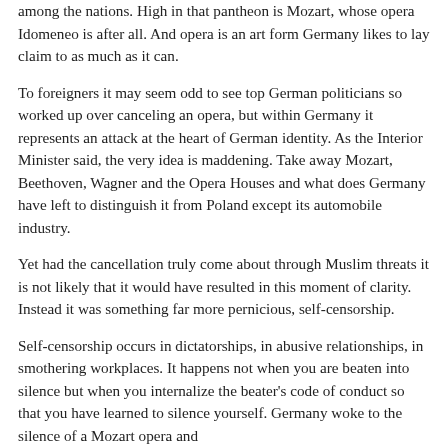among the nations. High in that pantheon is Mozart, whose opera Idomeneo is after all. And opera is an art form Germany likes to lay claim to as much as it can.
To foreigners it may seem odd to see top German politicians so worked up over canceling an opera, but within Germany it represents an attack at the heart of German identity. As the Interior Minister said, the very idea is maddening. Take away Mozart, Beethoven, Wagner and the Opera Houses and what does Germany have left to distinguish it from Poland except its automobile industry.
Yet had the cancellation truly come about through Muslim threats it is not likely that it would have resulted in this moment of clarity. Instead it was something far more pernicious, self-censorship.
Self-censorship occurs in dictatorships, in abusive relationships, in smothering workplaces. It happens not when you are beaten into silence but when you internalize the beater's code of conduct so that you have learned to silence yourself. Germany woke to the silence of a Mozart opera and